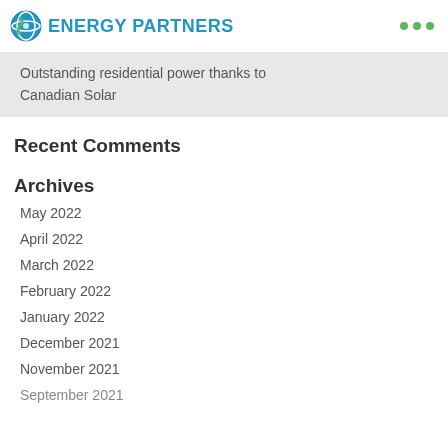ENERGY PARTNERS
Outstanding residential power thanks to Canadian Solar
Recent Comments
Archives
May 2022
April 2022
March 2022
February 2022
January 2022
December 2021
November 2021
September 2021